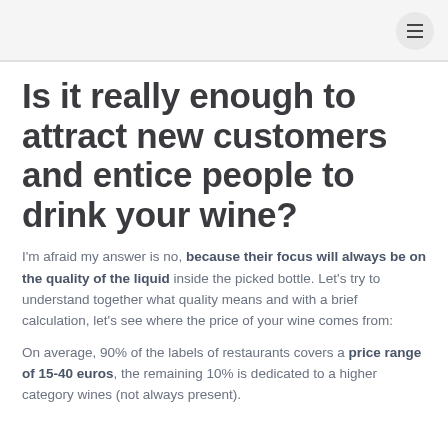Is it really enough to attract new customers and entice people to drink your wine?
I'm afraid my answer is no, because their focus will always be on the quality of the liquid inside the picked bottle. Let's try to understand together what quality means and with a brief calculation, let's see where the price of your wine comes from:
On average, 90% of the labels of restaurants covers a price range of 15-40 euros, the remaining 10% is dedicated to a higher category wines (not always present).